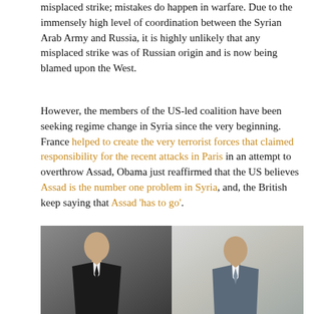misplaced strike; mistakes do happen in warfare. Due to the immensely high level of coordination between the Syrian Arab Army and Russia, it is highly unlikely that any misplaced strike was of Russian origin and is now being blamed upon the West.
However, the members of the US-led coalition have been seeking regime change in Syria since the very beginning. France helped to create the very terrorist forces that claimed responsibility for the recent attacks in Paris in an attempt to overthrow Assad, Obama just reaffirmed that the US believes Assad is the number one problem in Syria, and, the British keep saying that Assad 'has to go'.
[Figure (photo): Side-by-side photo of two men in formal attire, likely political figures associated with Syria and Russia]